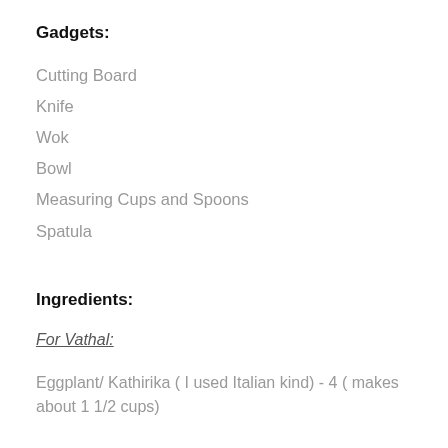Gadgets:
Cutting Board
Knife
Wok
Bowl
Measuring Cups and Spoons
Spatula
Ingredients:
For Vathal:
Eggplant/ Kathirika ( I used Italian kind) - 4 ( makes about 1 1/2 cups)